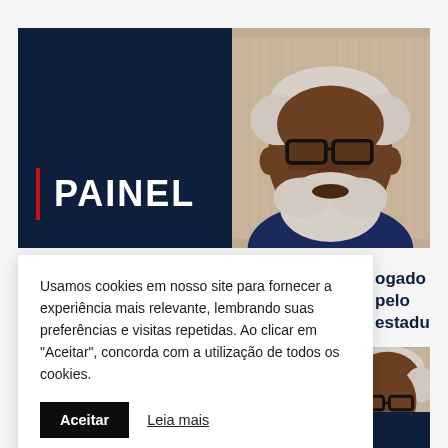[Figure (photo): News website screenshot showing a banner with PAINEL text on dark navy background on the left, and a portrait photo of an elderly Black man with glasses and white beard on the right.]
PAINEL
Usamos cookies em nosso site para fornecer a experiência mais relevante, lembrando suas preferências e visitas repetidas. Ao clicar em "Aceitar", concorda com a utilização de todos os cookies.
ogado pelo estadual
[Figure (photo): Partial portrait of the same elderly Black man with white hair, partially visible at bottom right.]